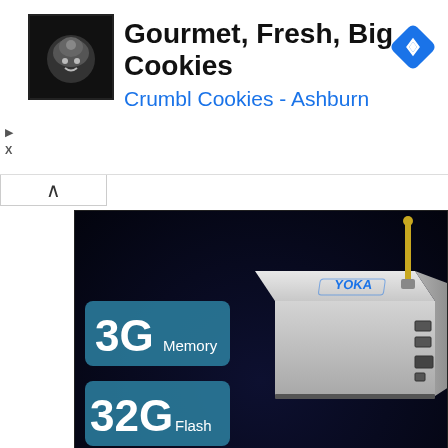[Figure (infographic): Advertisement banner for Crumbl Cookies - Ashburn with cookie logo, title 'Gourmet, Fresh, Big Cookies', subtitle 'Crumbl Cookies - Ashburn', navigation diamond icon, and playback/close controls]
[Figure (photo): Product photo of YOKA TV KB2 PRO device on dark background, showing the white Android TV box with antenna, blue YOKA logo on top, ports on the side, with spec badges showing '3G Memory' and '32G Flash']
On the right side of the YOKA TV KB2 PRO there are 2 X USB 2.0 and the SD card slot for extra storage and on the back side we find the DC input, the HDMI 2.0 port, a reset button, the AV output, an optical audio SPDIF and the Gigabit Ethernet port. On the bottom four rubber feet on each corner and the ventilation holes that keep the device silent and cool. In fact, the device even under high